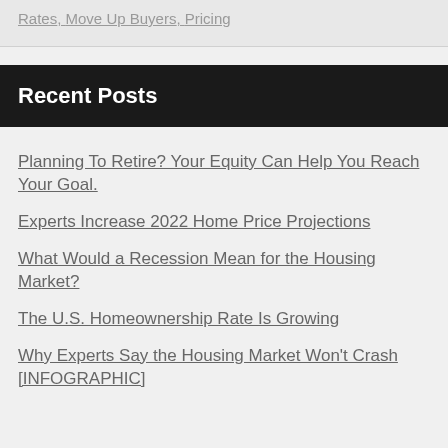Rates, Move Up Buyers, Pricing
Recent Posts
Planning To Retire? Your Equity Can Help You Reach Your Goal.
Experts Increase 2022 Home Price Projections
What Would a Recession Mean for the Housing Market?
The U.S. Homeownership Rate Is Growing
Why Experts Say the Housing Market Won't Crash [INFOGRAPHIC]